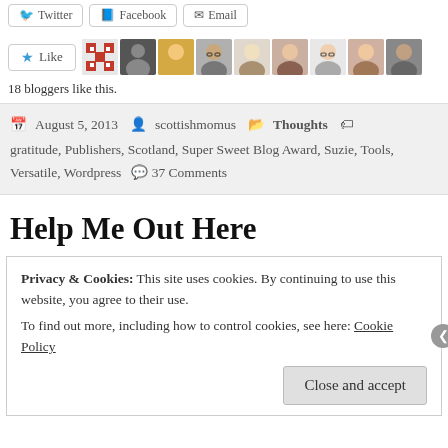[Figure (screenshot): Share buttons: Twitter, Facebook, Email]
[Figure (screenshot): Like button with 18 blogger avatar thumbnails]
18 bloggers like this.
August 5, 2013  scottishmomus  Thoughts  gratitude, Publishers, Scotland, Super Sweet Blog Award, Suzie, Tools, Versatile, Wordpress  37 Comments
Help Me Out Here
Privacy & Cookies: This site uses cookies. By continuing to use this website, you agree to their use.
To find out more, including how to control cookies, see here: Cookie Policy
Close and accept